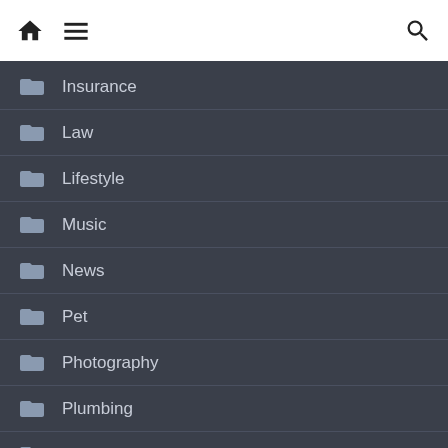Navigation bar with home, menu, and search icons
Insurance
Law
Lifestyle
Music
News
Pet
Photography
Plumbing
Real Estate
security
Shopping